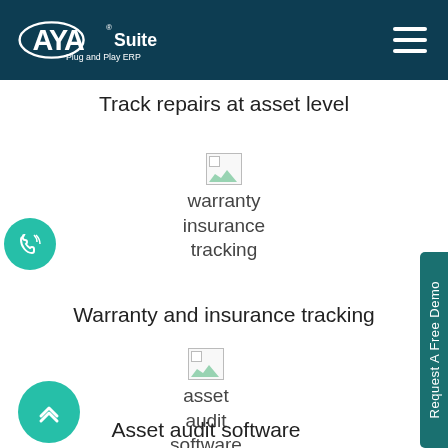[Figure (logo): AYA Suite - Plug and Play ERP logo in white on dark teal header with hamburger menu icon]
Track repairs at asset level
[Figure (illustration): Broken image placeholder representing warranty insurance tracking icon with image and text: warranty insurance tracking]
Warranty and insurance tracking
[Figure (illustration): Broken image placeholder representing asset audit software icon with text: asset audit software]
Asset audit software